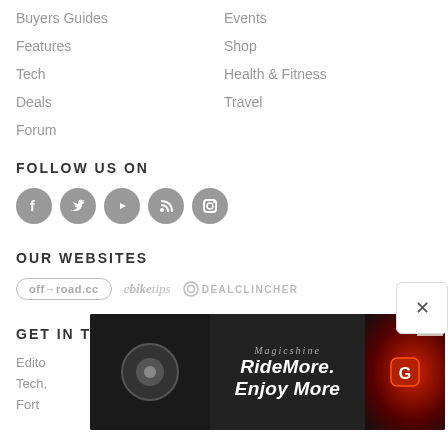Buyers Guides
Events
Features
Shop
Tech
Health & Fitness
Deals
Travel
Forum
FOLLOW US ON
[Figure (illustration): Social media icons: Facebook, Twitter, YouTube, RSS, Instagram — grey circles with white icons]
OUR WEBSITES
[Figure (logo): Three website logos: off-road.cc (pill border), ebiketips (italic script), DEALCLINCHER (icon + uppercase text)]
GET IN TOUCH
Edito...
Tech,...
Fort...
[Figure (screenshot): Advertisement overlay: Magicshine RideMore. Enjoy More ad banner over dark background with bike light imagery, with X close button]